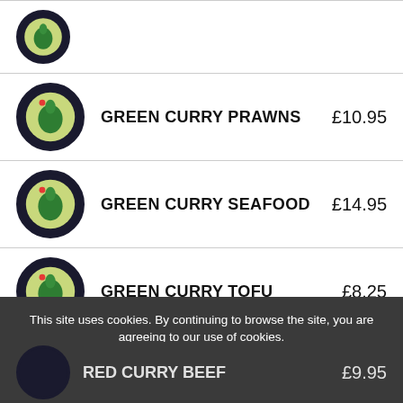GREEN CURRY PRAWNS £10.95
GREEN CURRY SEAFOOD £14.95
GREEN CURRY TOFU £8.25
GREEN CURRY VEGETABLES £7.95
This site uses cookies. By continuing to browse the site, you are agreeing to our use of cookies.
RED CURRY BEEF £9.95